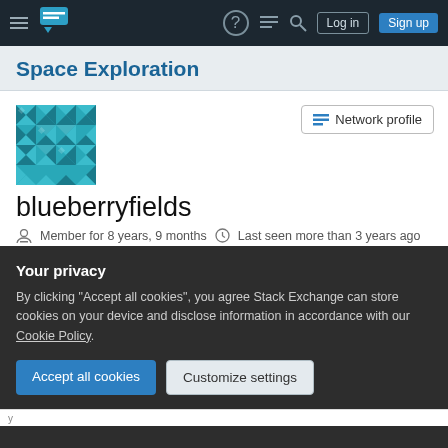Space Exploration Stack Exchange — Navigation bar with Log in and Sign up buttons
Space Exploration
[Figure (illustration): User avatar: teal geometric/mosaic pattern square avatar for user blueberryfields]
Network profile
blueberryfields
Member for 8 years, 9 months   Last seen more than 3 years ago
patreon.com/blueberryfields (partially visible)
Your privacy
By clicking "Accept all cookies", you agree Stack Exchange can store cookies on your device and disclose information in accordance with our Cookie Policy.
Accept all cookies
Customize settings